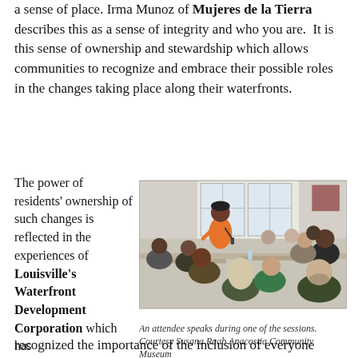a sense of place. Irma Munoz of Mujeres de la Tierra describes this as a sense of integrity and who you are.  It is this sense of ownership and stewardship which allows communities to recognize and embrace their possible roles in the changes taking place along their waterfronts.
The power of residents' ownership of such changes is reflected in the experiences of Louisville's Waterfront Development Corporation which has recognized the importance of the inclusion of everyone from
[Figure (photo): A woman in an orange top speaks while holding a microphone during a community meeting session. Several attendees are seated at tables listening.]
An attendee speaks during one of the sessions. Courtesy Susana Raab Anacostia Community Museum